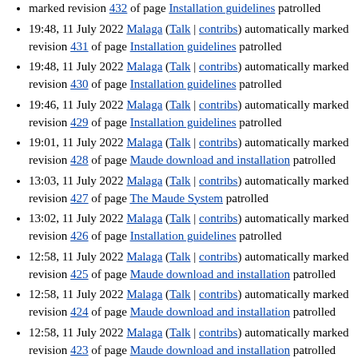marked revision 432 of page Installation guidelines patrolled
19:48, 11 July 2022 Malaga (Talk | contribs) automatically marked revision 431 of page Installation guidelines patrolled
19:48, 11 July 2022 Malaga (Talk | contribs) automatically marked revision 430 of page Installation guidelines patrolled
19:46, 11 July 2022 Malaga (Talk | contribs) automatically marked revision 429 of page Installation guidelines patrolled
19:01, 11 July 2022 Malaga (Talk | contribs) automatically marked revision 428 of page Maude download and installation patrolled
13:03, 11 July 2022 Malaga (Talk | contribs) automatically marked revision 427 of page The Maude System patrolled
13:02, 11 July 2022 Malaga (Talk | contribs) automatically marked revision 426 of page Installation guidelines patrolled
12:58, 11 July 2022 Malaga (Talk | contribs) automatically marked revision 425 of page Maude download and installation patrolled
12:58, 11 July 2022 Malaga (Talk | contribs) automatically marked revision 424 of page Maude download and installation patrolled
12:58, 11 July 2022 Malaga (Talk | contribs) automatically marked revision 423 of page Maude download and installation patrolled
19:01, 7 April 2022 Malaga (Talk | contribs) uploaded a new version of "File:Maude-3.2.1-manual.pdf" (Update of the